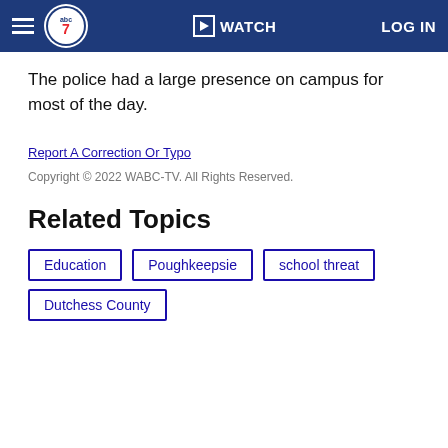WATCH | LOG IN
The police had a large presence on campus for most of the day.
Report A Correction Or Typo
Copyright © 2022 WABC-TV. All Rights Reserved.
Related Topics
Education
Poughkeepsie
school threat
Dutchess County